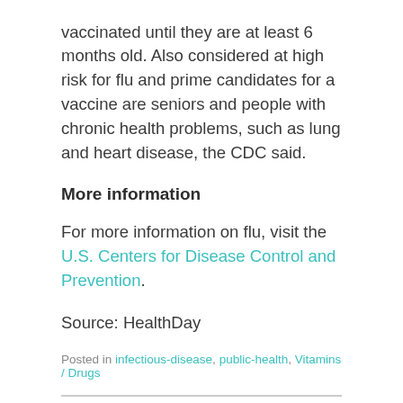vaccinated until they are at least 6 months old. Also considered at high risk for flu and prime candidates for a vaccine are seniors and people with chronic health problems, such as lung and heart disease, the CDC said.
More information
For more information on flu, visit the U.S. Centers for Disease Control and Prevention.
Source: HealthDay
Posted in infectious-disease, public-health, Vitamins / Drugs
Leave a Reply